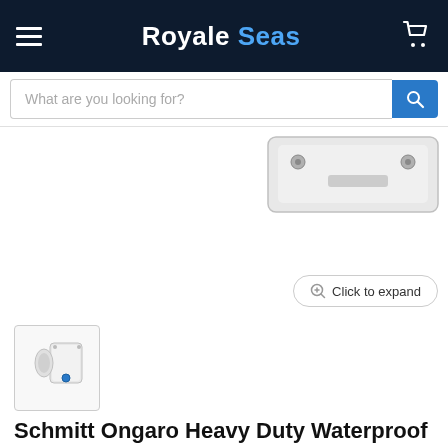Royale Seas
What are you looking for?
[Figure (photo): Partial view of a white wiper motor mount bracket with screws, shown from above, cropped at the top-right of the product image area]
Click to expand
[Figure (photo): Thumbnail image of a white Schmitt Ongaro heavy duty waterproof 2-speed wiper motor with 2.5 inch shaft]
Schmitt Ongaro Heavy Duty Waterproof 2-Speed Wiper Motor - 2.5" Shaft - 12V [33621]